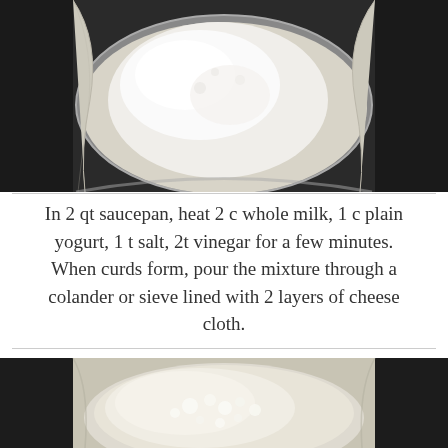[Figure (photo): Photo of a metal colander or sieve lined with white cheesecloth containing white liquid/curds being strained, viewed from above against a dark background.]
In 2 qt saucepan, heat 2 c whole milk, 1 c plain yogurt, 1 t salt, 2t vinegar for a few minutes. When curds form, pour the mixture through a colander or sieve lined with 2 layers of cheese cloth.
[Figure (photo): Photo of white cottage cheese curds draining in a cheesecloth-lined strainer, viewed from above, showing a grainy white curd texture.]